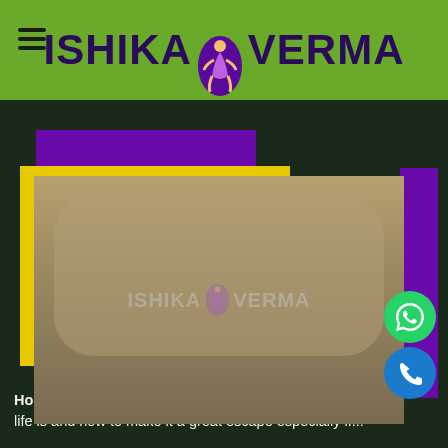ISHIKA VERMA
[Figure (screenshot): Website screenshot showing Ishika Verma escort service page with a promotional photo of a woman lying down, decorative purple and yellow geometric borders, watermark text 'ISHIKA VERMA', WhatsApp and phone contact buttons]
Housewife escorts in Chittoor-, We understand how cruel life is and how to make it a great escape especially if...